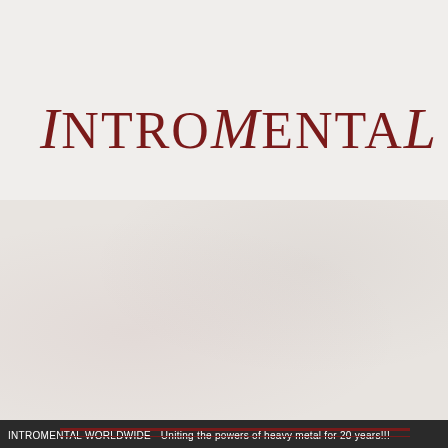[Figure (logo): IntroMental logo in dark red serif font on light grey background, top section]
[Figure (logo): IntroMental logo large text 'INTRO M...' in dark red bold serif font inside double-ruled border box, on textured grey background with faded watermark letters, with italic text 'promoting Hea...' partially visible at bottom right]
INTROMENTAL WORLDWIDE - Uniting the powers of heavy metal for 20 years!!!